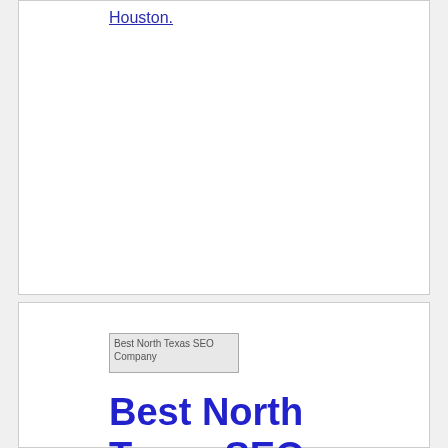Houston.
[Figure (illustration): Best North Texas SEO Company image placeholder]
Best North Texas SEO